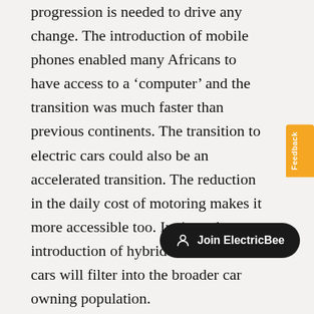progression is needed to drive any change. The introduction of mobile phones enabled many Africans to have access to a 'computer' and the transition was much faster than previous continents. The transition to electric cars could also be an accelerated transition. The reduction in the daily cost of motoring makes it more accessible too. In time, the introduction of hybrid and electric cars will filter into the broader car owning population.
If the African continent electric there is a need to adopt to new technologies. This will bring the balance